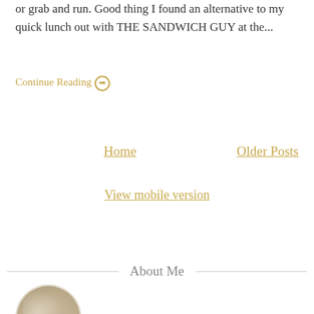or grab and run. Good thing I found an alternative to my quick lunch out with THE SANDWICH GUY at the...
Continue Reading →
Home
Older Posts
View mobile version
About Me
[Figure (photo): Circular profile photo with floral or nature imagery]